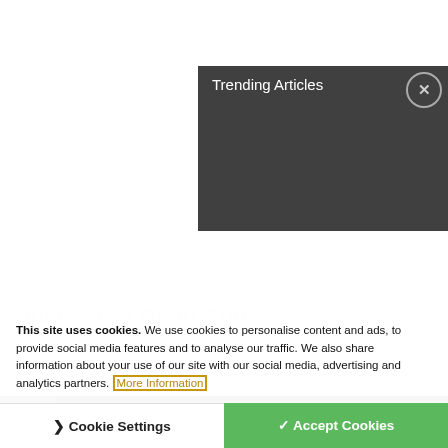Trending Articles
This site uses cookies. We use cookies to personalise content and ads, to provide social media features and to analyse our traffic. We also share information about your use of our site with our social media, advertising and analytics partners. More Information
Cookie Settings
✓ Accept Cookies
What's New On ACTIVE
7 Best Memory Foam Mattresses for Extra Comfort